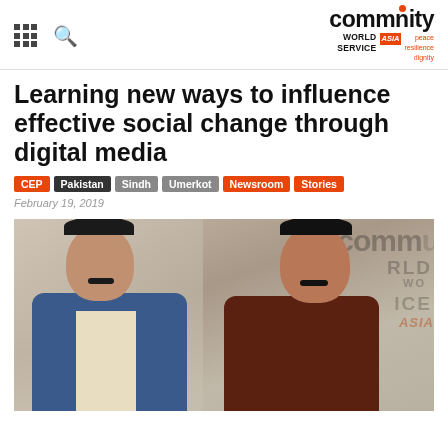Community World Service Asia
Learning new ways to influence effective social change through digital media
CEP  Pakistan  Sindh  Umerkot  Newsroom  Stories
February 19, 2019
[Figure (photo): Two men standing in front of a Community World Service Asia backdrop/logo. The man on the left wears a blue blazer with a light shirt. The man on the right wears a dark brown shalwar kameez. Both have mustaches.]